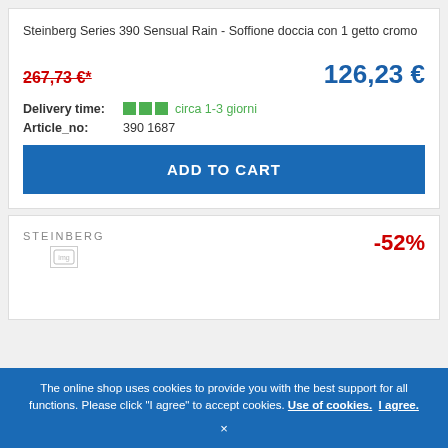Steinberg Series 390 Sensual Rain - Soffione doccia con 1 getto cromo
267,73 €* (strikethrough old price)
126,23 € (new price)
Delivery time: ■■■ circa 1-3 giorni
Article_no: 390 1687
ADD TO CART
STEINBERG -52%
The online shop uses cookies to provide you with the best support for all functions. Please click "I agree" to accept cookies. Use of cookies. I agree.